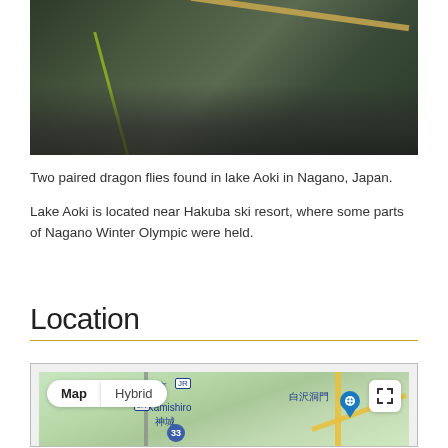[Figure (photo): Close-up photo of two paired dragonflies on water plant stems, with dark rocky riverbed visible underneath water. Green grass-like stem and dry yellow-tan stalk crossing the frame.]
Two paired dragon flies found in lake Aoki in Nagano, Japan.
Lake Aoki is located near Hakuba ski resort, where some parts of Nagano Winter Olympic were held.
Location
[Figure (map): Google Maps screenshot showing the area near Lake Aoki, Nagano, Japan. Map view with Map/Hybrid toggle buttons. Shows labels for 飯森 (Iimori), Kamishiro/神城 (Kamishiro), 白沢洞門 (Shirasawa Tunnel). Blue route marker pin visible at right. Road 33 circle marker visible. Yellow mountain roads and grey railway line visible.]